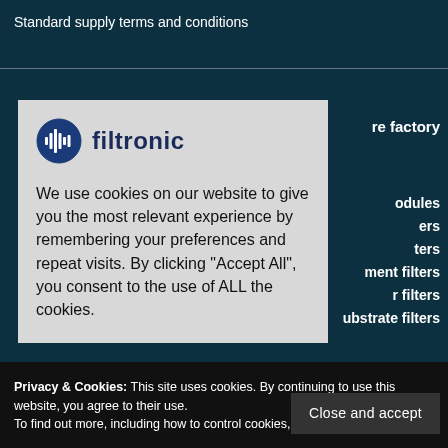Standard supply terms and conditions
re factory
odules
ers
ters
ment filters
r filters
ubstrate filters
[Figure (logo): Filtronic company logo — circular blue icon with waveform marks, followed by 'filtronic' in dark blue bold text]
We use cookies on our website to give you the most relevant experience by remembering your preferences and repeat visits. By clicking “Accept All”, you consent to the use of ALL the cookies.
Privacy & Cookies: This site uses cookies. By continuing to use this website, you agree to their use.
To find out more, including how to control cookies, see here: Privacy Policy
Close and accept